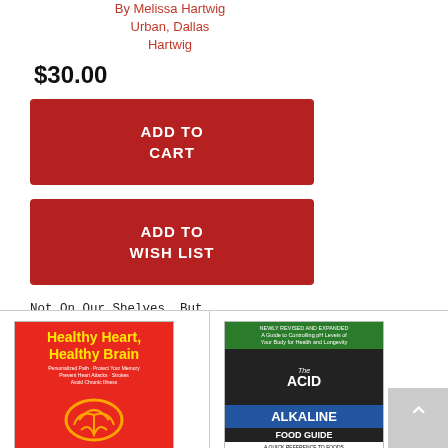By Melissa Hartwig Urban, Dallas Hartwig
$30.00
[Figure (other): ADD TO CART button - red rectangle]
[Figure (other): ADD TO WISH LIST button - red rectangle]
Not On Our Shelves, But Available from Warehouse - Usually Delivers in 3-14 Days
[Figure (illustration): Book cover: Healthy Heart, Healthy Brain - red cover with yellow title text and orange brain illustration]
[Figure (illustration): Book cover: The Acid Alkaline Food Guide - dark cover with green banner at top and blue/dark sections showing title]